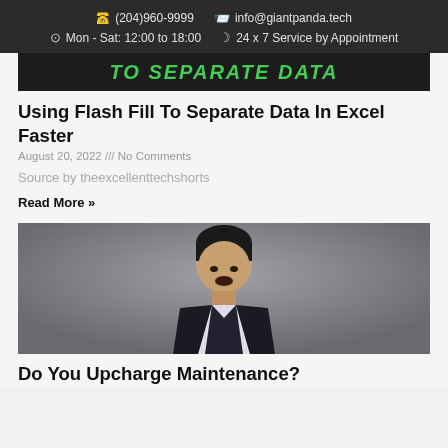📞 (204)960-9999   📧 info@giantpanda.tech
🕐 Mon - Sat: 12:00 to 18:00   🌙 24 x 7 Service by Appointment
[Figure (photo): Partial image with green text 'TO SEPARATE DATA' on dark background]
Using Flash Fill To Separate Data In Excel Faster
August 20, 2022 /// No Comments
Source by theexcellenttechshorts
Read More »
[Figure (photo): Photo of an Asian man in a dark suit speaking, mouth open, against grey background]
Do You Upcharge Maintenance?